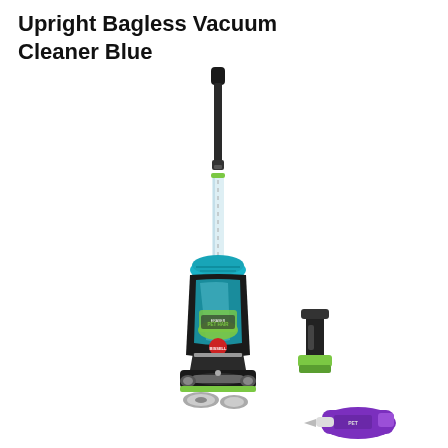Upright Bagless Vacuum Cleaner Blue
[Figure (photo): Product photo of a BISSELL Pet Eraser upright bagless vacuum cleaner in blue, teal, green, and black colors, shown with two accessory attachments — a small green/black handheld brush tool and a purple/white handheld sprayer — positioned to the lower right of the main vacuum unit.]